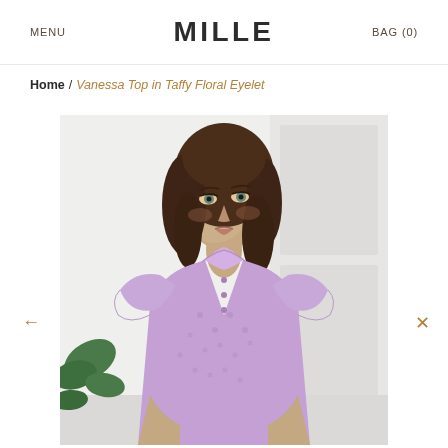MENU   MILLE   BAG (0)
Home / Vanessa Top in Taffy Floral Eyelet
[Figure (photo): A woman with shoulder-length brown hair wearing a purple/lavender eyelet short-sleeve ruffled blouse, posed against a white panelled wall background with a green plant visible to the left.]